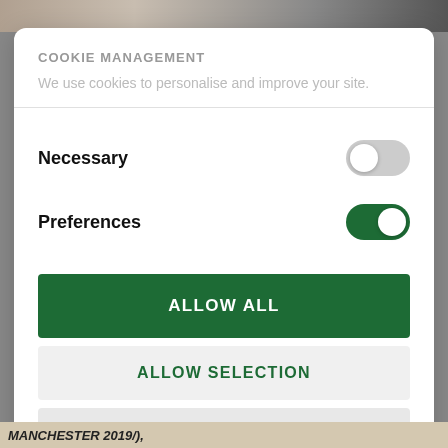[Figure (screenshot): Top image strip showing partial photos behind a cookie consent modal]
COOKIE MANAGEMENT
We use cookies to personalise and improve your site.
Necessary
Preferences
ALLOW ALL
ALLOW SELECTION
DENY
Powered by Cookiebot by Usercentrics